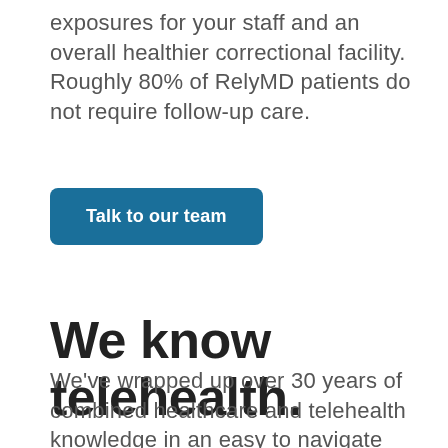exposures for your staff and an overall healthier correctional facility. Roughly 80% of RelyMD patients do not require follow-up care.
Talk to our team
We know telehealth.
We've wrapped up over 30 years of combined healthcare and telehealth knowledge in an easy to navigate resource center. Check